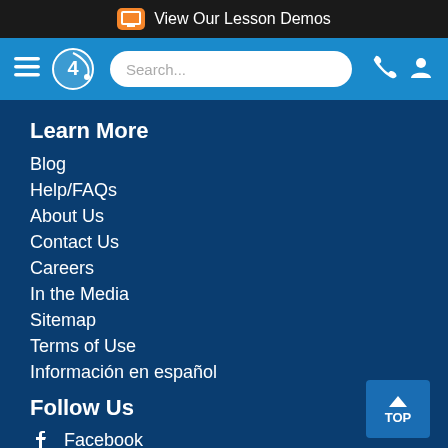View Our Lesson Demos
Search... (navigation bar with hamburger menu, logo, search, phone, user icons)
Learn More
Blog
Help/FAQs
About Us
Contact Us
Careers
In the Media
Sitemap
Terms of Use
Información en español
Follow Us
Facebook
Twitter